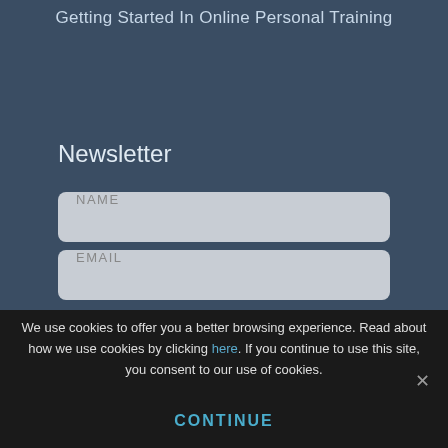Getting Started In Online Personal Training
Newsletter
NAME
EMAIL
We use cookies to offer you a better browsing experience. Read about how we use cookies by clicking here. If you continue to use this site, you consent to our use of cookies.
CONTINUE